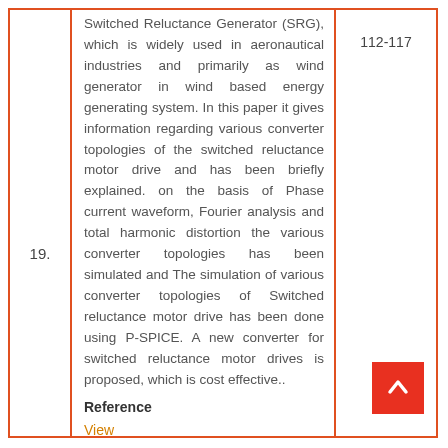Switched Reluctance Generator (SRG), which is widely used in aeronautical industries and primarily as wind generator in wind based energy generating system. In this paper it gives information regarding various converter topologies of the switched reluctance motor drive and has been briefly explained. on the basis of Phase current waveform, Fourier analysis and total harmonic distortion the various converter topologies has been simulated and The simulation of various converter topologies of Switched reluctance motor drive has been done using P-SPICE. A new converter for switched reluctance motor drives is proposed, which is cost effective..
19.
112-117
Reference
View